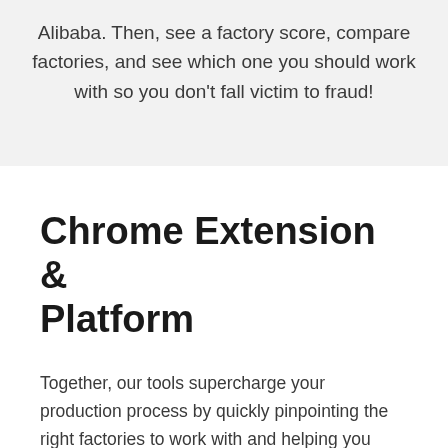Alibaba. Then, see a factory score, compare factories, and see which one you should work with so you don't fall victim to fraud!
Chrome Extension & Platform
Together, our tools supercharge your production process by quickly pinpointing the right factories to work with and helping you manage your product from an initial